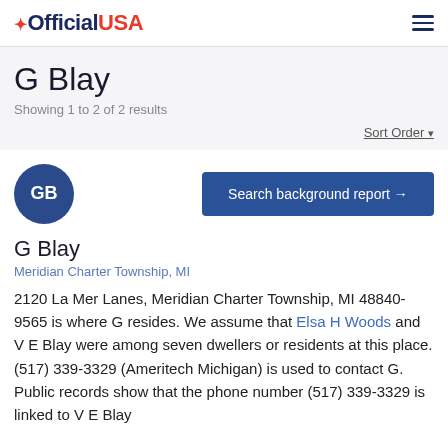OfficialUSA
G Blay
Showing 1 to 2 of 2 results
Sort Order ▾
[Figure (other): Avatar circle with initials GB]
Search background report →
G Blay
Meridian Charter Township, MI
2120 La Mer Lanes, Meridian Charter Township, MI 48840-9565 is where G resides. We assume that Elsa H Woods and V E Blay were among seven dwellers or residents at this place. (517) 339-3329 (Ameritech Michigan) is used to contact G. Public records show that the phone number (517) 339-3329 is linked to V E Blay